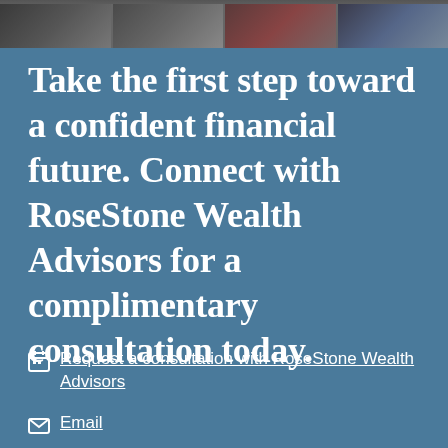[Figure (photo): Strip of professional group photo showing people in business attire at top of page]
Take the first step toward a confident financial future. Connect with RoseStone Wealth Advisors for a complimentary consultation today.
Request a consultation with RoseStone Wealth Advisors
Email